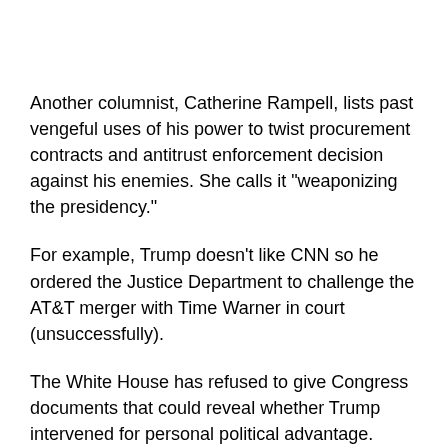Another columnist, Catherine Rampell, lists past vengeful uses of his power to twist procurement contracts and antitrust enforcement decision against his enemies. She calls it "weaponizing the presidency."
For example, Trump doesn't like CNN so he ordered the Justice Department to challenge the AT&T merger with Time Warner in court (unsuccessfully).
The White House has refused to give Congress documents that could reveal whether Trump intervened for personal political advantage. Congress is the only institution that has the authority given to it by the Founders to thwart a fast-emerging monarch.